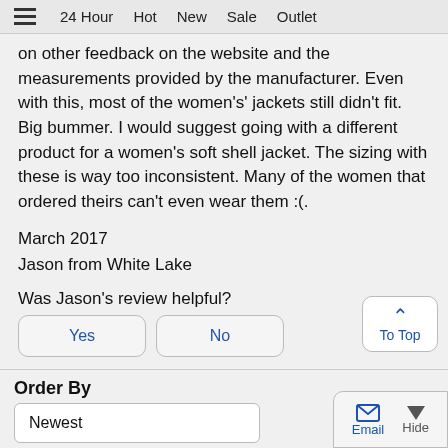≡  24 Hour  Hot  New  Sale  Outlet
on other feedback on the website and the measurements provided by the manufacturer. Even with this, most of the women's' jackets still didn't fit. Big bummer. I would suggest going with a different product for a women's soft shell jacket. The sizing with these is way too inconsistent. Many of the women that ordered theirs can't even wear them :(
March 2017
Jason from White Lake
Was Jason's review helpful?
Yes
No
Order By
Newest